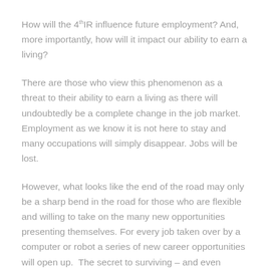How will the 4th IR influence future employment? And, more importantly, how will it impact our ability to earn a living?
There are those who view this phenomenon as a threat to their ability to earn a living as there will undoubtedly be a complete change in the job market. Employment as we know it is not here to stay and many occupations will simply disappear. Jobs will be lost.
However, what looks like the end of the road may only be a sharp bend in the road for those who are flexible and willing to take on the many new opportunities presenting themselves. For every job taken over by a computer or robot a series of new career opportunities will open up.  The secret to surviving – and even thriving – in the changing environment, is the ability and willingness to adapt. Those who refuse or resist changing could